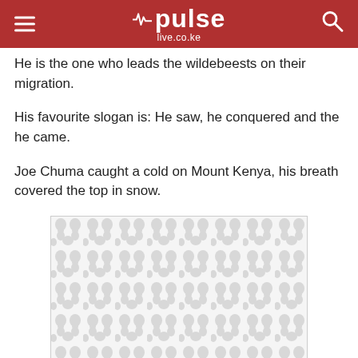pulse live.co.ke
He is the one who leads the wildebeests on their migration.
His favourite slogan is: He saw, he conquered and the he came.
Joe Chuma caught a cold on Mount Kenya, his breath covered the top in snow.
[Figure (photo): Image placeholder with grey patterned background (loading/broken image placeholder)]